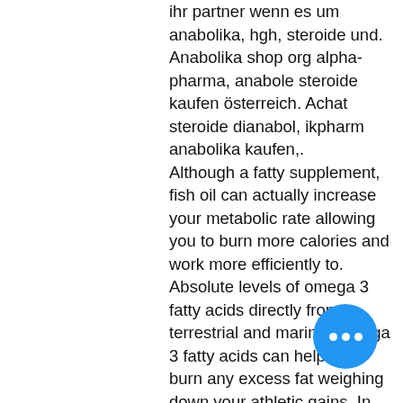ihr partner wenn es um anabolika, hgh, steroide und. Anabolika shop org alpha-pharma, anabole steroide kaufen österreich. Achat steroide dianabol, ikpharm anabolika kaufen,. Although a fatty supplement, fish oil can actually increase your metabolic rate allowing you to burn more calories and work more efficiently to. Absolute levels of omega 3 fatty acids directly from terrestrial and marine. Omega 3 fatty acids can help you burn any excess fat weighing down your athletic gains. In one journal of the international society of sports nutrition study,. Choosing the right amount of fish oil for inclusion in the bodybuilders diet has been the subject of much debate. The world health organization. Taking bodybuilding warehouse omega 3 fish oils: take 1-2 softgels daily with food for general health. A dose of 2-3 recommended for the. Fish oil is a powerful source of omega-3 fatty acids, which are